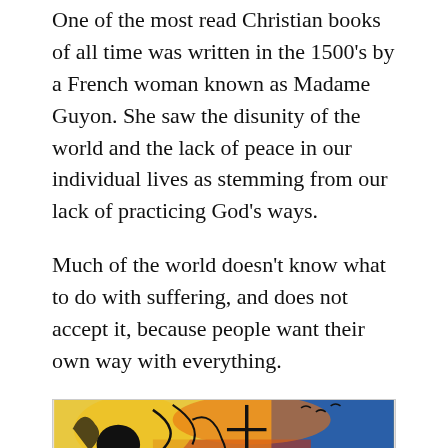One of the most read Christian books of all time was written in the 1500’s by a French woman known as Madame Guyon. She saw the disunity of the world and the lack of peace in our individual lives as stemming from our lack of practicing God’s ways.
Much of the world doesn’t know what to do with suffering, and does not accept it, because people want their own way with everything.
[Figure (illustration): A colorful abstract painting featuring a large peace symbol in white/light colors at the center-right, with bold black abstract figures and shapes on the left, set against a vivid background of yellows, oranges, blues, and reds resembling an energetic street-art or graffiti-style composition.]